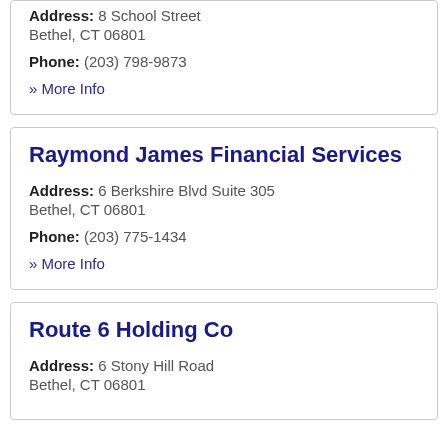Address: 8 School Street
Bethel, CT 06801
Phone: (203) 798-9873
» More Info
Raymond James Financial Services
Address: 6 Berkshire Blvd Suite 305
Bethel, CT 06801
Phone: (203) 775-1434
» More Info
Route 6 Holding Co
Address: 6 Stony Hill Road
Bethel, CT 06801